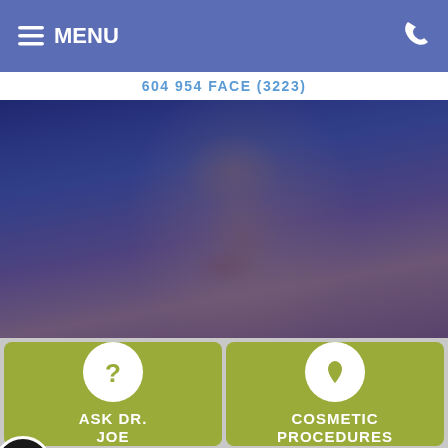MENU
604 954 FACE (3223)
[Figure (photo): Dark-toned woman with blue/purple lighting tones looking to the side, face partially illuminated, hero banner image]
[Figure (infographic): ASK DR. JOE button with question mark circle icon on olive/yellow-green background]
[Figure (infographic): COSMETIC PROCEDURES button with leaf/droplet circle icon on olive/yellow-green background]
[Figure (infographic): Bottom-left cell with mirror/makeup icon on olive/yellow-green background, accessibility badge in corner]
[Figure (infographic): Bottom-right cell with calendar icon on olive/yellow-green background]